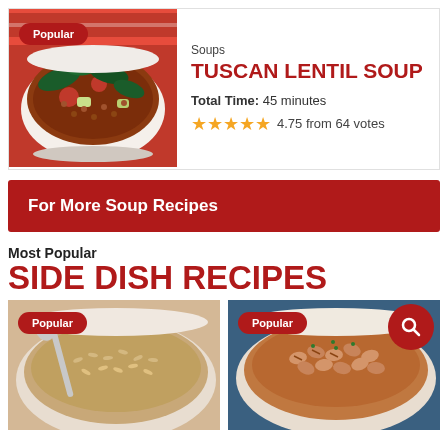[Figure (photo): Bowl of Tuscan lentil soup with dark leafy greens, tomatoes, and vegetables. Red and white checkered cloth in background. 'Popular' badge overlay.]
Soups
TUSCAN LENTIL SOUP
Total Time: 45 minutes
4.75 from 64 votes
For More Soup Recipes
Most Popular
SIDE DISH RECIPES
[Figure (photo): Bowl of cooked brown rice with a spoon. 'Popular' badge overlay.]
[Figure (photo): Bowl of pinto beans garnished with herbs. 'Popular' badge overlay. Search icon in top right corner.]